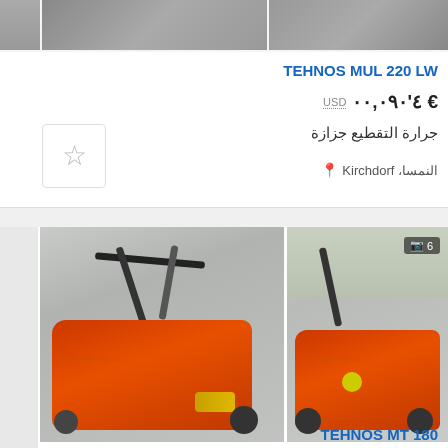[Figure (photo): Top partial images of agricultural machinery (mowers), cropped at top of page]
TEHNOS MUL 220 LW
USD  € ٤'٠٩٠,٠٠
جرارة التقطيع جزازة
النمسا، Kirchdorf
[Figure (photo): Two photos of red/orange Tehnos MT 180 mower on pavement, second photo has badge showing camera icon and number 6]
TEHNOS MT 180